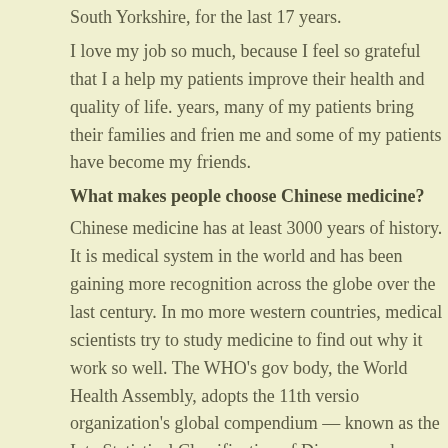South Yorkshire, for the last 17 years.
I love my job so much, because I feel so grateful that I a help my patients improve their health and quality of life. years, many of my patients bring their families and frien me and some of my patients have become my friends.
What makes people choose Chinese medicine?
Chinese medicine has at least 3000 years of history. It is medical system in the world and has been gaining more recognition across the globe over the last century. In mo more western countries, medical scientists try to study medicine to find out why it work so well. The WHO's gov body, the World Health Assembly, adopts the 11th versio organization's global compendium — known as the Inte Statistical Classification of Diseases and Related Health (ICD). For the first time, the ICD will include details abou traditional Chinese medicines.